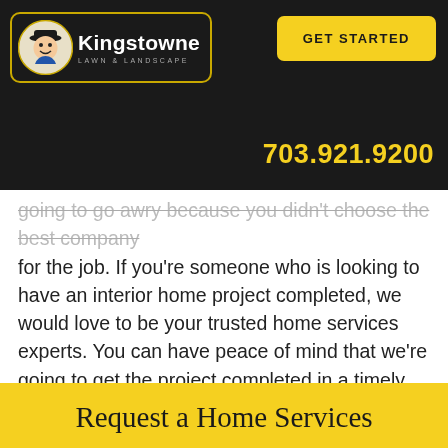[Figure (logo): Kingstowne Lawn & Landscape logo with mascot character in a bordered box on dark background]
GET STARTED
703.921.9200
going to go awry because you didn't choose the best company for the job. If you're someone who is looking to have an interior home project completed, we would love to be your trusted home services experts. You can have peace of mind that we're going to get the project completed in a timely manner and the way that you expect so that you can be happy with the finished result.
Ready for your home services project in Arlington, Alexandria, or Springfield, VA to be completed? Request a home services consultation and get ready to receive the royal treatment!
Request a Home Services